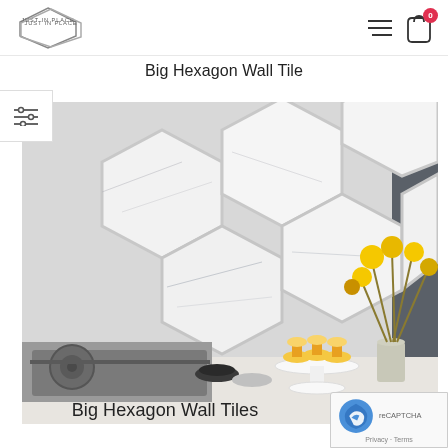JUST IN PLACE — navigation header with logo, hamburger menu, and cart icon with badge 0
Big Hexagon Wall Tile
[Figure (photo): Kitchen backsplash featuring large white marble-look hexagon wall tiles. A gas stove is visible on the left, a cake stand with cupcakes and a vase of yellow flowers sit on the white countertop to the right.]
Big Hexagon Wall Tiles